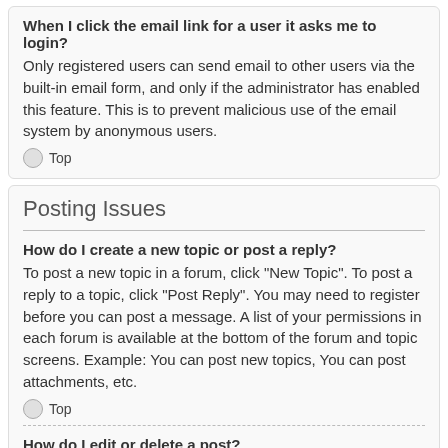When I click the email link for a user it asks me to login?
Only registered users can send email to other users via the built-in email form, and only if the administrator has enabled this feature. This is to prevent malicious use of the email system by anonymous users.
Top
Posting Issues
How do I create a new topic or post a reply?
To post a new topic in a forum, click "New Topic". To post a reply to a topic, click "Post Reply". You may need to register before you can post a message. A list of your permissions in each forum is available at the bottom of the forum and topic screens. Example: You can post new topics, You can post attachments, etc.
Top
How do I edit or delete a post?
Unless you are a board administrator or moderator, you can only edit or delete your own posts. You can edit a post by clicking the edit button for the relevant post, sometimes for only a limited time after the post was made. If someone has already replied to the post, you will find a small piece of text output below the post when you return